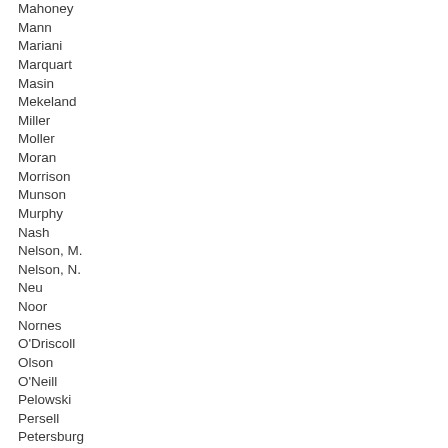Mahoney
Mann
Mariani
Marquart
Masin
Mekeland
Miller
Moller
Moran
Morrison
Munson
Murphy
Nash
Nelson, M.
Nelson, N.
Neu
Noor
Nornes
O'Driscoll
Olson
O'Neill
Pelowski
Persell
Petersburg
Pierson
Pinto
Poppe
Poston
Pryor
Quam
Richardson
Robbins
Runbeck
Sandell
Sandstede
Sauke
Schomacker
Schultz
Scott
Stephenson